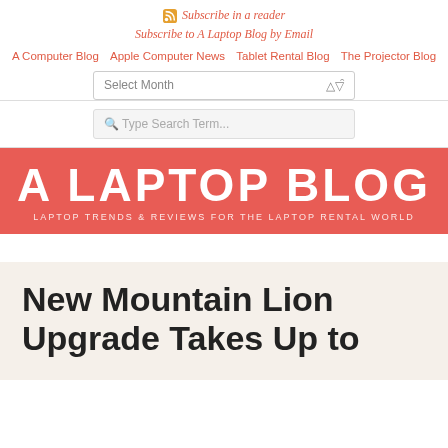Subscribe in a reader
Subscribe to A Laptop Blog by Email
A Computer Blog   Apple Computer News   Tablet Rental Blog   The Projector Blog
Select Month
Type Search Term...
A LAPTOP BLOG
LAPTOP TRENDS & REVIEWS FOR THE LAPTOP RENTAL WORLD
New Mountain Lion Upgrade Takes Up to